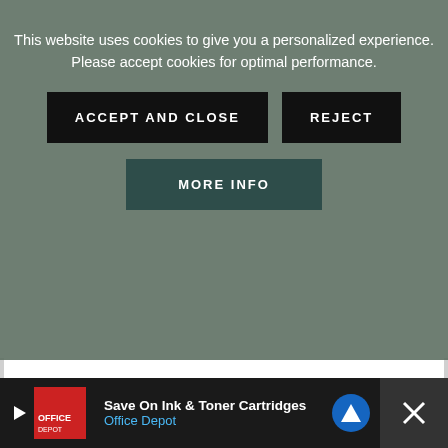This website uses cookies to give you a personalized experience. Please accept cookies for optimal performance.
ACCEPT AND CLOSE
REJECT
MORE INFO
3. Next, add the remaining ingredients, except for spinach.
4 cups vegetable broth,
2 cups tomato puree,
1 ½ cups white beans,
2 cups green beans, ½ cup pasta,
¼ cup nutritional yeast,
Save On Ink & Toner Cartridges Office Depot